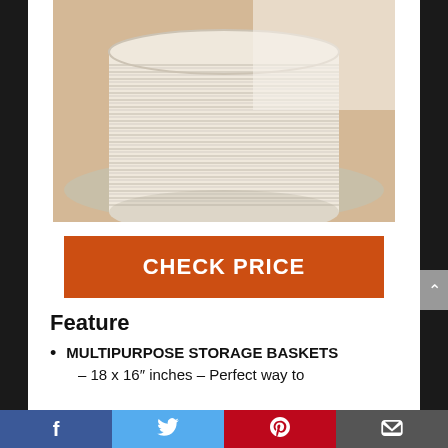[Figure (photo): Close-up photo of a large round woven rope storage basket in cream/off-white color with dark thread detail, sitting on a textured rug with light wood flooring in background.]
CHECK PRICE
Feature
MULTIPURPOSE STORAGE BASKETS
– 18 x 16″ inches – Perfect way to